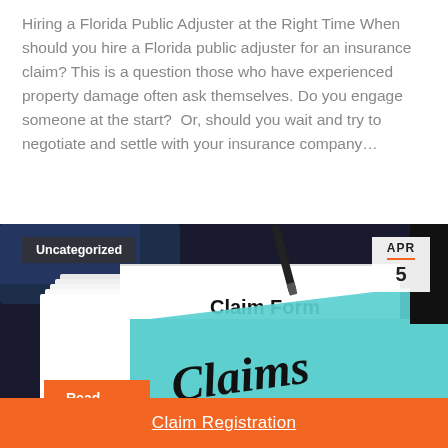Hiring a Florida Public Adjuster at the Right Time When should you hire a Florida public adjuster for an insurance claim? This is a question those who have experienced property damage often ask themselves. Do you engage someone at the start?  Or, should you wait and try to negotiate and settle with your insurance company…
Read article ▶
Uncategorized
APR
5
[Figure (photo): Photo of insurance claim forms on a dark desk. A blue sticky note with 'Claims' written in marker is overlaid on a printed 'Claim Form' document. Several white papers are stacked underneath.]
Claim Registration